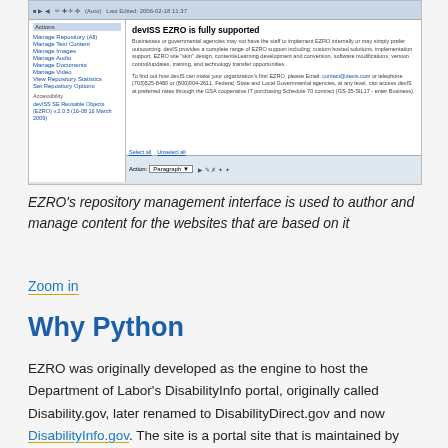[Figure (screenshot): Screenshot of EZRO's repository management interface showing a left navigation panel with links (Manage Repository, Manage Text Content, Manage Images, Manage Audio, Manage Documents, Manage Video, View Repository Statistics, Set Repository Options) and a main content area displaying 'devISS EZRO is fully supported' with descriptive text about outsourcing support services.]
EZRO's repository management interface is used to author and manage content for the websites that are based on it
Zoom in
Why Python
EZRO was originally developed as the engine to host the Department of Labor's DisabilityInfo portal, originally called Disability.gov, later renamed to DisabilityDirect.gov and now DisabilityInfo.gov. The site is a portal site that is maintained by people in each of the major agencies